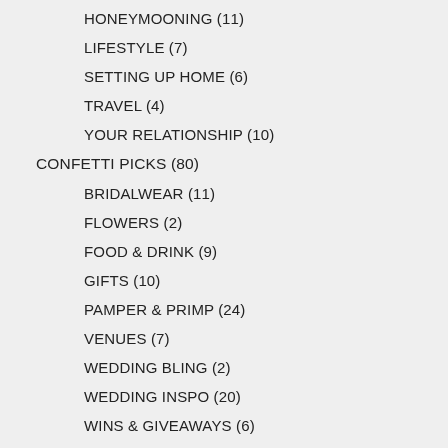HONEYMOONING (11)
LIFESTYLE (7)
SETTING UP HOME (6)
TRAVEL (4)
YOUR RELATIONSHIP (10)
CONFETTI PICKS (80)
BRIDALWEAR (11)
FLOWERS (2)
FOOD & DRINK (9)
GIFTS (10)
PAMPER & PRIMP (24)
VENUES (7)
WEDDING BLING (2)
WEDDING INSPO (20)
WINS & GIVEAWAYS (6)
DIRECTORY (1)
MAGAZINE (4)
YOUR BIG DAY (36)
CEREMONY (3)
I SAID 'YES' (5)